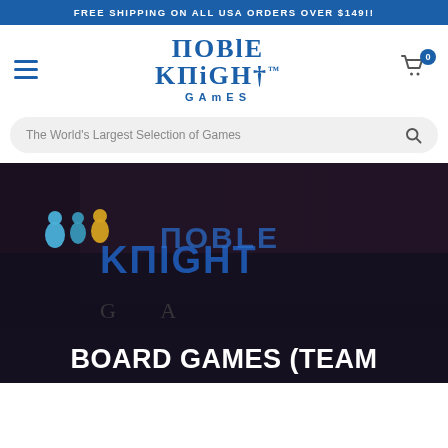FREE SHIPPING ON ALL USA ORDERS OVER $149!!
[Figure (logo): Noble Knight Games logo - stylized medieval font text in blue reading NOBLE KNIGHT GAMES with TM mark]
The World's Largest Selection of Games
[Figure (photo): Noble Knight Games product hero image showing a board game with meeple figurines on a dark background with bold 'NOBLE KNIGHT GAMES' text on game surface]
BOARD GAMES (TEAM